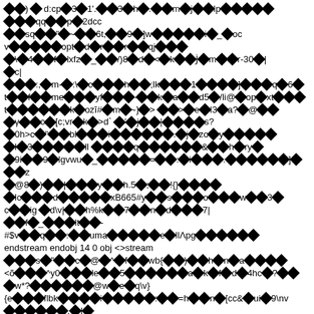Corrupted/encoded binary stream data rendered as mixed diamond glyphs and ASCII characters — appears to be a raw PDF binary stream extraction showing garbled content with symbols, numbers, and text fragments including 'endstream endobj 14 0 obj <>stream'